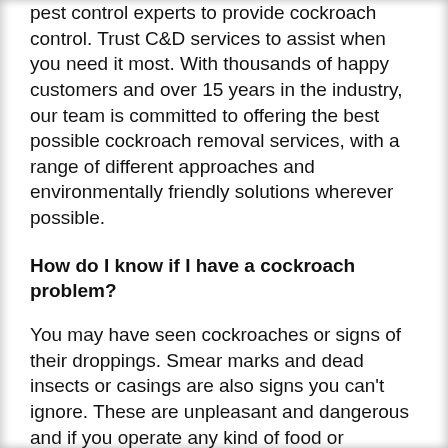pest control experts to provide cockroach control. Trust C&D services to assist when you need it most. With thousands of happy customers and over 15 years in the industry, our team is committed to offering the best possible cockroach removal services, with a range of different approaches and environmentally friendly solutions wherever possible.
How do I know if I have a cockroach problem?
You may have seen cockroaches or signs of their droppings. Smear marks and dead insects or casings are also signs you can't ignore. These are unpleasant and dangerous and if you operate any kind of food or customer service business, they can be a disaster if you don't act fast. Luckily, we are